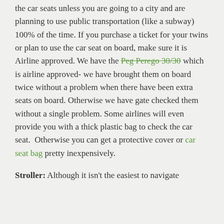the car seats unless you are going to a city and are planning to use public transportation (like a subway) 100% of the time. If you purchase a ticket for your twins or plan to use the car seat on board, make sure it is Airline approved. We have the Peg Perego 30/30 which is airline approved- we have brought them on board twice without a problem when there have been extra seats on board. Otherwise we have gate checked them without a single problem. Some airlines will even provide you with a thick plastic bag to check the car seat.  Otherwise you can get a protective cover or car seat bag pretty inexpensively.
Stroller: Although it isn't the easiest to navigate